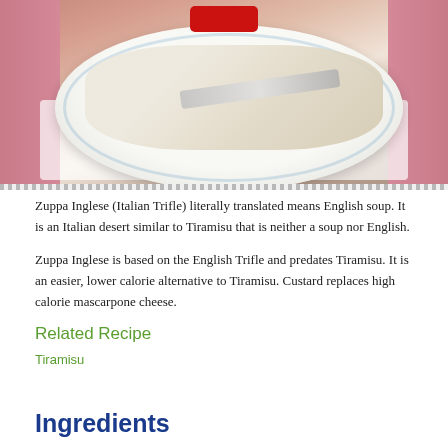[Figure (photo): Photo of a dessert (Zuppa Inglese / Italian Trifle) on a white plate with blue floral pattern, with a fork, on a pink background. A red play button is visible at the top center.]
Zuppa Inglese (Italian Trifle) literally translated means English soup. It is an Italian desert similar to Tiramisu that is neither a soup nor English.
Zuppa Inglese is based on the English Trifle and predates Tiramisu. It is an easier, lower calorie alternative to Tiramisu. Custard replaces high calorie mascarpone cheese.
Related Recipe
Tiramisu
Ingredients
2 cups (480 ml) whole or 2% milk, cold